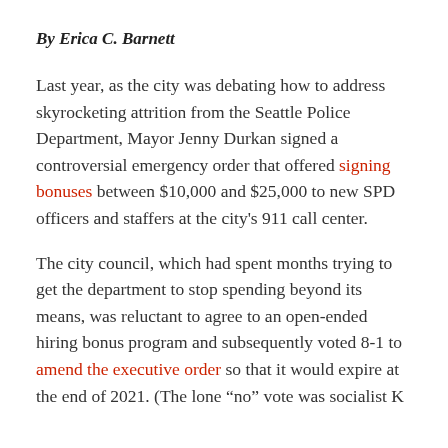By Erica C. Barnett
Last year, as the city was debating how to address skyrocketing attrition from the Seattle Police Department, Mayor Jenny Durkan signed a controversial emergency order that offered signing bonuses between $10,000 and $25,000 to new SPD officers and staffers at the city's 911 call center.
The city council, which had spent months trying to get the department to stop spending beyond its means, was reluctant to agree to an open-ended hiring bonus program and subsequently voted 8-1 to amend the executive order so that it would expire at the end of 2021. (The lone “no” vote was socialist Kshama Sawant, who opposed funding...